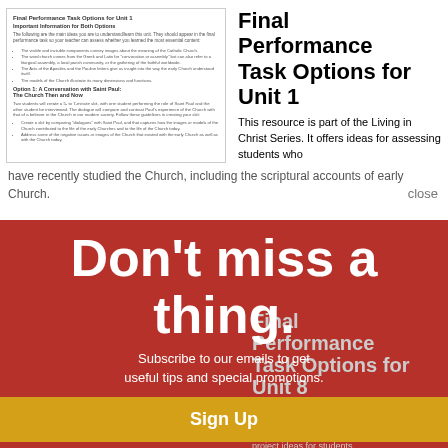[Figure (screenshot): Screenshot of a document page showing 'Final Performance Task Options for Unit 1']
Final Performance Task Options for Unit 1
This resource is part of the Living in Christ Series. It offers ideas for assessing students who have recently studied the Church, including the scriptural accounts of early Church.
close
Don't miss a thing.
Subscribe to our emails to get useful tips and special promotions.
Sign Up
Final Performance Task Options for Unit 8
This resource is part of the Living in Christ Series. It offers various project ideas for students who are or have been studying the Paschal Mystery, especially with regard to discipleship, vocation, and holiness.